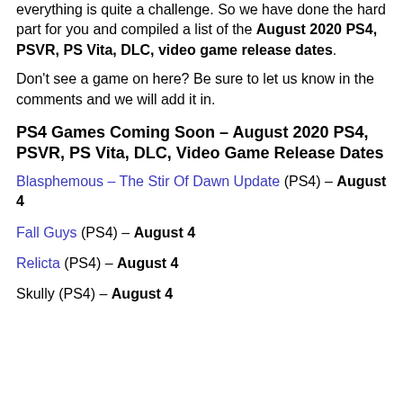everything is quite a challenge. So we have done the hard part for you and compiled a list of the August 2020 PS4, PSVR, PS Vita, DLC, video game release dates.
Don't see a game on here? Be sure to let us know in the comments and we will add it in.
PS4 Games Coming Soon – August 2020 PS4, PSVR, PS Vita, DLC, Video Game Release Dates
Blasphemous – The Stir Of Dawn Update (PS4) – August 4
Fall Guys (PS4) – August 4
Relicta (PS4) – August 4
Skully (PS4) – August 4